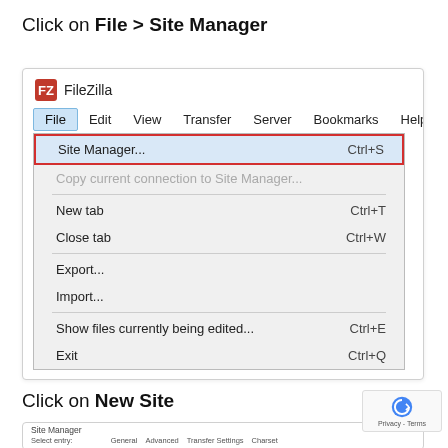Click on File > Site Manager
[Figure (screenshot): FileZilla application menu showing File menu open with 'Site Manager...' highlighted in a red border box. Menu items: Site Manager... Ctrl+S, Copy current connection to Site Manager... (greyed out), New tab Ctrl+T, Close tab Ctrl+W, Export..., Import..., Show files currently being edited... Ctrl+E, Exit Ctrl+Q]
Click on New Site
[Figure (screenshot): FileZilla Site Manager dialog partially visible showing 'My Sites' entry and tabs for General, Advanced, Transfer Settings, Charset with Protocol field showing FTP - File Transfer Protocol]